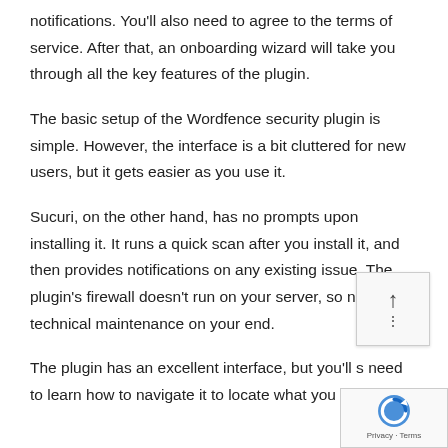notifications. You'll also need to agree to the terms of service. After that, an onboarding wizard will take you through all the key features of the plugin.
The basic setup of the Wordfence security plugin is simple. However, the interface is a bit cluttered for new users, but it gets easier as you use it.
Sucuri, on the other hand, has no prompts upon installing it. It runs a quick scan after you install it, and then provides notifications on any existing issue. The plugin's firewall doesn't run on your server, so no technical maintenance on your end.
The plugin has an excellent interface, but you'll still need to learn how to navigate it to locate what you